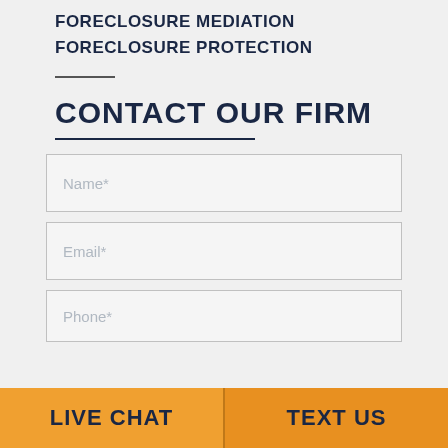FORECLOSURE MEDIATION
FORECLOSURE PROTECTION
CONTACT OUR FIRM
Name*
Email*
Phone*
LIVE CHAT
TEXT US